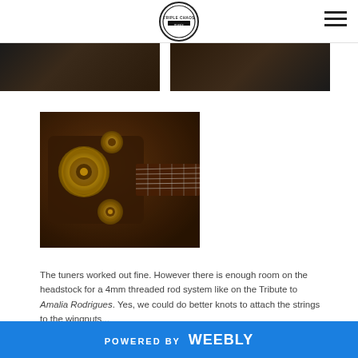Triple Chaos logo and navigation
[Figure (photo): Partial view of two dark photos in a strip at the top of the page]
[Figure (photo): Close-up photo of guitar headstock tuning pegs with warm brown/gold tones, showing tuner knobs and fretboard]
The tuners worked out fine. However there is enough room on the headstock for a 4mm threaded rod system like on the Tribute to Amalia Rodrigues. Yes, we could do better knots to attach the strings to the wingnuts...
POWERED BY weebly